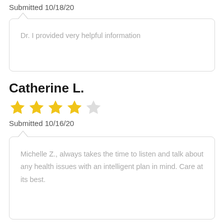Submitted 10/18/20
Dr. I provided very helpful information
Catherine L.
★★★★☆ (4 out of 5 stars)
Submitted 10/16/20
Michelle Z., always takes the time to listen and talk about any health issues with an intelligent plan in mind. Care at its best.